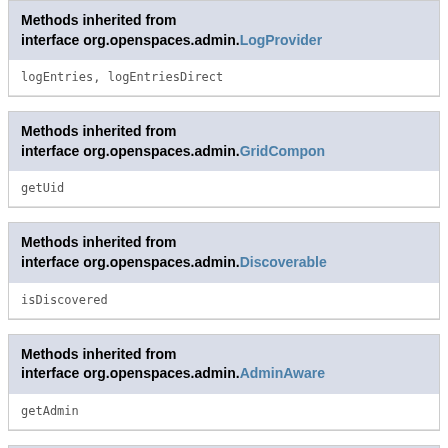Methods inherited from interface org.openspaces.admin.LogProvider
logEntries, logEntriesDirect
Methods inherited from interface org.openspaces.admin.GridComponent
getUid
Methods inherited from interface org.openspaces.admin.Discoverable
isDiscovered
Methods inherited from interface org.openspaces.admin.AdminAware
getAdmin
Methods inherited from interface org.openspaces.admin.machine.Ma